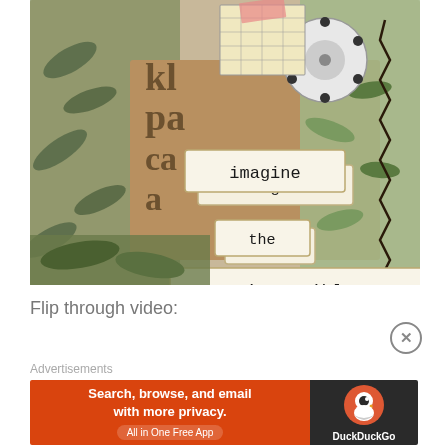[Figure (photo): Collage art piece on fabric/textile background with fern/leaf prints. Contains paper tags with typewriter text reading 'imagine', 'the', 'impossible'. Also features a vintage View-Master reel, bingo/number cards, zigzag stitching, and decorative botanical elements.]
Flip through video:
[Figure (screenshot): Video player progress bar with close (X) button]
Advertisements
[Figure (infographic): DuckDuckGo advertisement banner: 'Search, browse, and email with more privacy. All in One Free App' with DuckDuckGo logo on dark right panel]